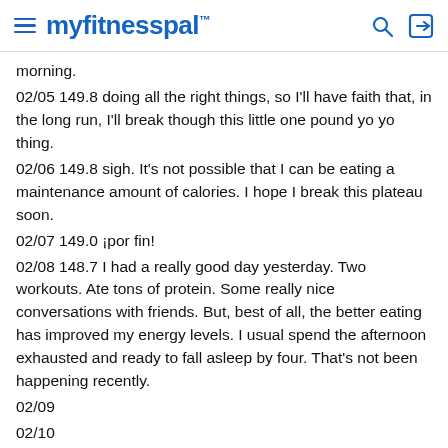myfitnesspal
morning.
02/05 149.8 doing all the right things, so I'll have faith that, in the long run, I'll break though this little one pound yo yo thing.
02/06 149.8 sigh. It's not possible that I can be eating a maintenance amount of calories. I hope I break this plateau soon.
02/07 149.0 ¡por fin!
02/08 148.7 I had a really good day yesterday. Two workouts. Ate tons of protein. Some really nice conversations with friends. But, best of all, the better eating has improved my energy levels. I usual spend the afternoon exhausted and ready to fall asleep by four. That's not been happening recently.
02/09
02/10